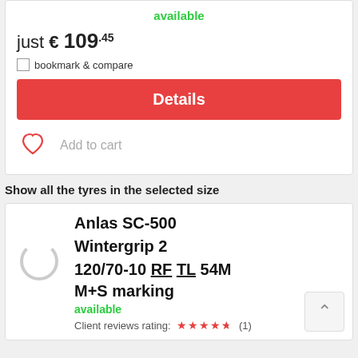available
just € 109.45
bookmark & compare
Details
Add to cart
Show all the tyres in the selected size
Anlas SC-500 Wintergrip 2 120/70-10 RF TL 54M M+S marking
available
Client reviews rating: (1)